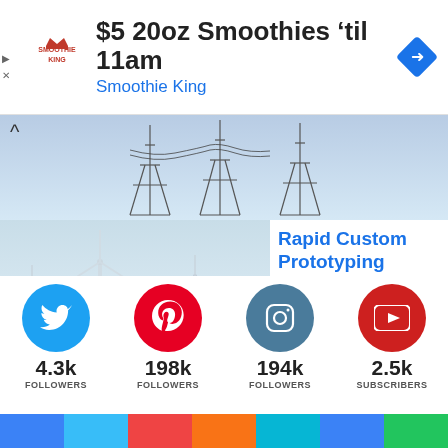[Figure (screenshot): Smoothie King advertisement banner with logo, '$5 20oz Smoothies til 11am' headline, 'Smoothie King' subheading, and a blue directional arrow icon. Contains play and close icons on left side.]
[Figure (photo): Electrical power transmission tower/pylons with cables against a grey-blue sky, with a chevron-up arrow icon overlay at top left.]
[Figure (photo): Wind turbines against a light blue sky/water background.]
Rapid Custom Prototyping
Ad Rapid Waterjet Designs
[Figure (infographic): Social media follower counts: Twitter 4.3k Followers, Pinterest 198k Followers, Instagram 194k Followers, YouTube 2.5k Subscribers, shown with circular colored icons.]
[Figure (infographic): Bottom color bar strip with segments in blue, light blue, red, orange, teal, blue, and green.]